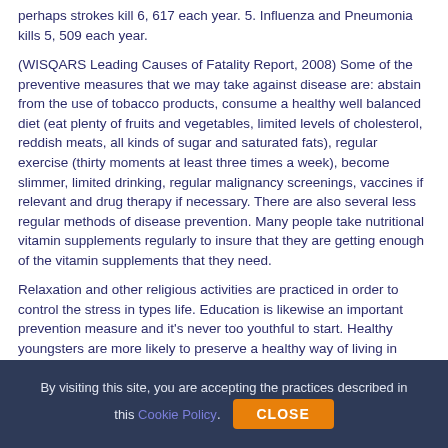perhaps strokes kill 6, 617 each year. 5. Influenza and Pneumonia kills 5, 509 each year.
(WISQARS Leading Causes of Fatality Report, 2008) Some of the preventive measures that we may take against disease are: abstain from the use of tobacco products, consume a healthy well balanced diet (eat plenty of fruits and vegetables, limited levels of cholesterol, reddish meats, all kinds of sugar and saturated fats), regular exercise (thirty moments at least three times a week), become slimmer, limited drinking, regular malignancy screenings, vaccines if relevant and drug therapy if necessary. There are also several less regular methods of disease prevention. Many people take nutritional vitamin supplements regularly to insure that they are getting enough of the vitamin supplements that they need.
Relaxation and other religious activities are practiced in order to control the stress in types life. Education is likewise an important prevention measure and it's never too youthful to start. Healthy youngsters are more likely to preserve a healthy way of living in
By visiting this site, you are accepting the practices described in this Cookie Policy. CLOSE